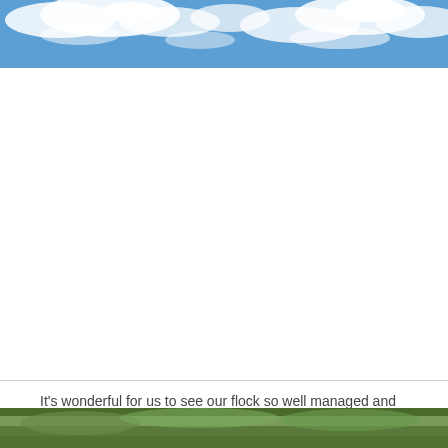[Figure (photo): Blue sky with white clouds, spanning the top of the page as a wide banner image.]
It's wonderful for us to see our flock so well managed and diversified after our forty years of sheep breeding.
[Figure (photo): Partial outdoor scene visible at the very bottom of the page, appears to be a field or pasture.]